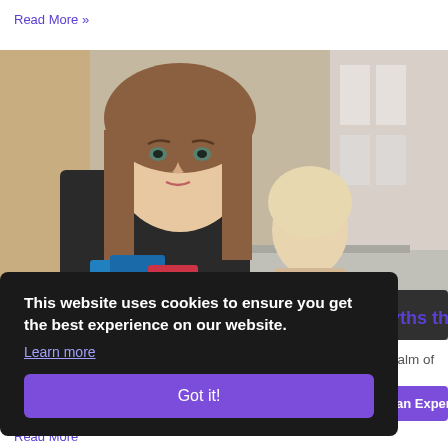Read More »
[Figure (photo): A young woman with brown hair in a black blazer holding folders and a box of belongings, looking toward the camera. In the background, a blonde woman gestures while seated at a desk in an office setting with white shelves and binders.]
This website uses cookies to ensure you get the best experience on our website. Learn more
Got it!
yths that
ealm of
an Expert
Read More »